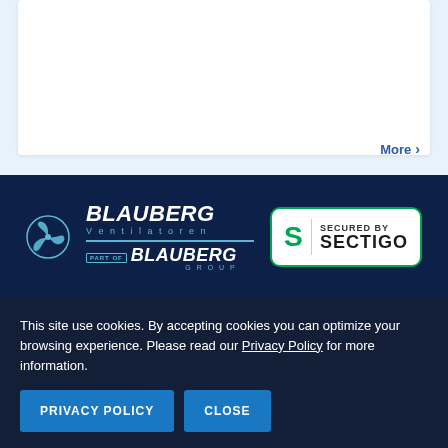[Figure (screenshot): White card section with light blue background showing top portion of a product/content card with a 'More >' link in the bottom right]
[Figure (logo): Blauberg Ventilatoren logo with fan icon, 'PART OF BLAUBERG GROUP' text below, and 'SECURED BY SECTIGO' badge]
Imprint Contact License Agreement Privacy Policy Blauberg China Blauberg OS Blauberg Motors Sitemap BLAUBERG © All rights
This site use cookies. By accepting cookies you can optimize your browsing experience. Please read our Privacy Policy for more information.
PRIVACY POLICY
CLOSE